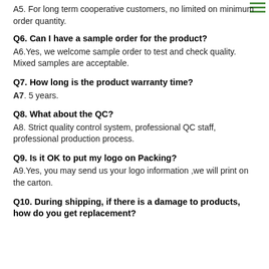A5. For long term cooperative customers, no limited on minimum order quantity.
Q6. Can I have a sample order for the product?
A6.Yes, we welcome sample order to test and check quality. Mixed samples are acceptable.
Q7. How long is the product warranty time?
A7. 5 years.
Q8. What about the QC?
A8. Strict quality control system, professional QC staff, professional production process.
Q9. Is it OK to put my logo on Packing?
A9.Yes, you may send us your logo information ,we will print on the carton.
Q10. During shipping, if there is a damage to products, how do you get replacement?